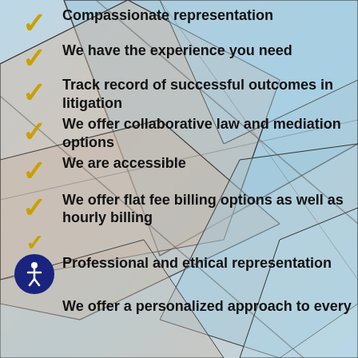Compassionate representation
We have the experience you need
Track record of successful outcomes in litigation
We offer collaborative law and mediation options
We are accessible
We offer flat fee billing options as well as hourly billing
Professional and ethical representation
We offer a personalized approach to every